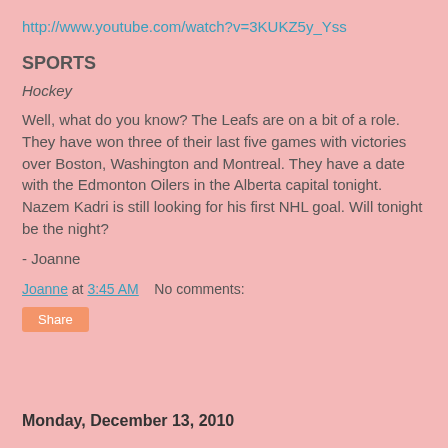http://www.youtube.com/watch?v=3KUKZ5y_Yss
SPORTS
Hockey
Well, what do you know? The Leafs are on a bit of a role. They have won three of their last five games with victories over Boston, Washington and Montreal. They have a date with the Edmonton Oilers in the Alberta capital tonight. Nazem Kadri is still looking for his first NHL goal. Will tonight be the night?
- Joanne
Joanne at 3:45 AM    No comments:
Share
Monday, December 13, 2010